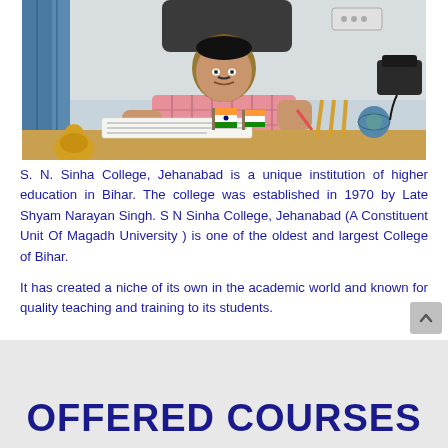[Figure (photo): A man in a pink checked shirt sitting at an office desk with papers, small Indian flags, a golden Buddha figurine, a globe paperweight, and a telephone in the background.]
S. N. Sinha College, Jehanabad is a unique institution of higher education in Bihar. The college was established in 1970 by Late Shyam Narayan Singh. S N Sinha College, Jehanabad (A Constituent Unit Of Magadh University ) is one of the oldest and largest College of Bihar.
It has created a niche of its own in the academic world and known for quality teaching and training to its students.
OFFERED COURSES